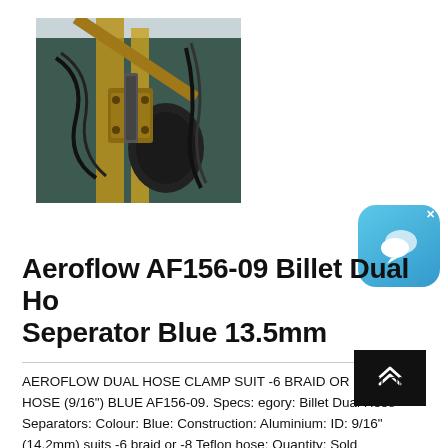[Figure (photo): Industrial drilling or hydraulic equipment with hoses and yellow metal frame components against grey background]
[Figure (screenshot): Chat widget button with speech bubble icon and X close button, blue rounded square]
Aeroflow AF156-09 Billet Dual Ho Seperator Blue 13.5mm
[Figure (other): Scroll up button, dark black square with double chevron up arrow]
AEROFLOW DUAL HOSE CLAMP SUIT -6 BRAID OR FLON HOSE (9/16") BLUE AF156-09. Specs: egory: Billet Dual Hose Separators: Colour: Blue: Construction: Aluminium: ID: 9/16" (14.2mm) suits -6 braid or -8 Teflon hose: Quantity: Sold individually (AF156-09) SKU: AF156-09: Model # AF156-09: Barcode # 9337206047357: Brand: Aeroflow Performance ...